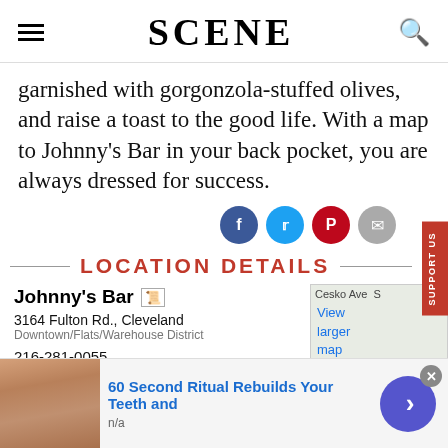SCENE
garnished with gorgonzola-stuffed olives, and raise a toast to the good life. With a map to Johnny's Bar in your back pocket, you are always dressed for success.
LOCATION DETAILS
Johnny's Bar
3164 Fulton Rd., Cleveland
Downtown/Flats/Warehouse District
216-281-0055
2 articles
[Figure (map): Partial Google Map showing Cesko Ave area with View larger map link]
[Figure (photo): Ad banner: 60 Second Ritual Rebuilds Your Teeth and - thumbnail of elderly person's face]